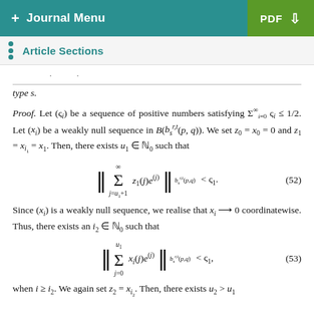+ Journal Menu  PDF ↓
Article Sections
type s.
Proof. Let (ς_i) be a sequence of positive numbers satisfying Σ_{i=0}^∞ ς_i ≤ 1/2. Let (x_i) be a weakly null sequence in B(b_s^{r,t}(p, q)). We set z_0 = x_0 = 0 and z_1 = x_{i_1} = x_1. Then, there exists u_1 ∈ ℕ_0 such that
(52)
Since (x_i) is a weakly null sequence, we realise that x_i → 0 coordinatewise. Thus, there exists an i_2 ∈ ℕ_0 such that
(53)
when i ≥ i_2. We again set z_2 = x_{i_2}. Then, there exists u_2 > u_1